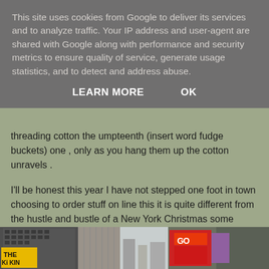This site uses cookies from Google to deliver its services and to analyze traffic. Your IP address and user-agent are shared with Google along with performance and security metrics to ensure quality of service, generate usage statistics, and to detect and address abuse.
LEARN MORE    OK
threading cotton the umpteenth (insert word fudge buckets) one , only as you hang them up the cotton unravels .
I'll be honest this year I have not stepped one foot in town choosing to order stuff on line this it is quite different from the hustle and bustle of a New York Christmas some years ago and you know I miss it.
[Figure (photo): Street-level photo of New York City showing buildings, a yellow sign with 'THE KING' text, city streets, and colorful advertisements/billboards on the right side.]